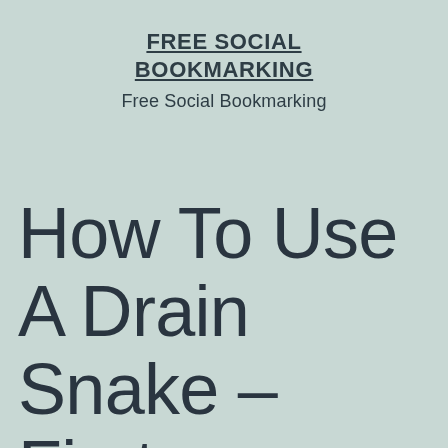FREE SOCIAL BOOKMARKING
Free Social Bookmarking
How To Use A Drain Snake – First HomeCare